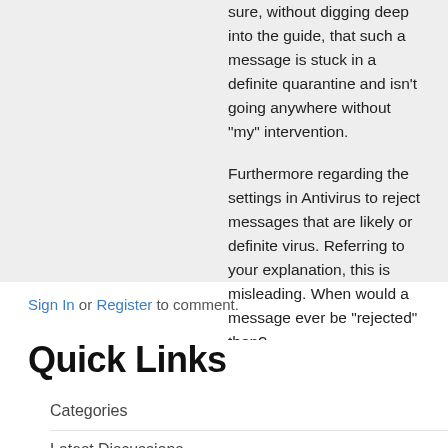sure, without digging deep into the guide, that such a message is stuck in a definite quarantine and isn't going anywhere without "my" intervention.

Furthermore regarding the settings in Antivirus to reject messages that are likely or definite virus. Referring to your explanation, this is misleading. When would a message ever be "rejected" then?
Sign In or Register to comment.
Quick Links
Categories
Latest Discussions